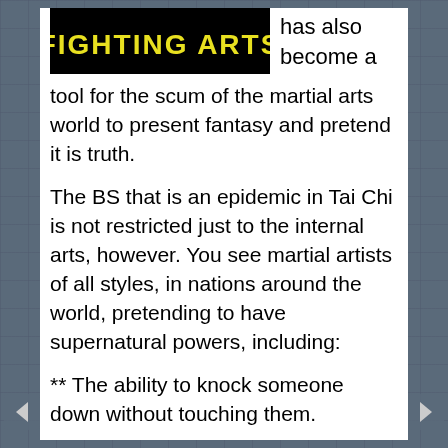[Figure (logo): Fighting Arts logo — yellow text on black background]
has also become a tool for the scum of the martial arts world to present fantasy and pretend it is truth.
The BS that is an epidemic in Tai Chi is not restricted just to the internal arts, however. You see martial artists of all styles, in nations around the world, pretending to have supernatural powers, including:
** The ability to knock someone down without touching them.
** The ability to make push hands partners hop and jump away at the slightest touch.
** The ability to set paper on fire.